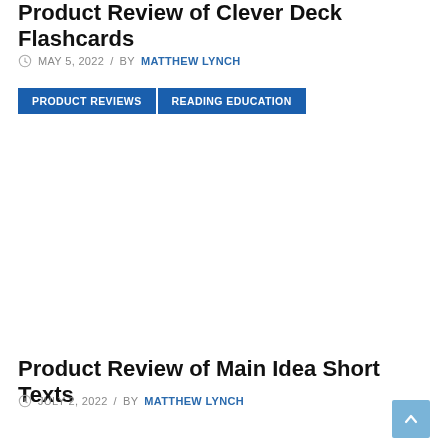Product Review of Clever Deck Flashcards
MAY 5, 2022 / BY MATTHEW LYNCH
PRODUCT REVIEWS | READING EDUCATION
Product Review of Main Idea Short Texts
JULY 2, 2022 / BY MATTHEW LYNCH